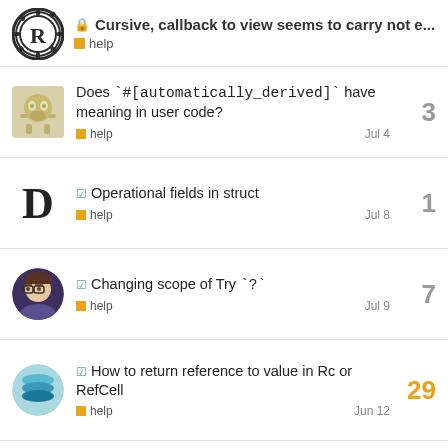🔒 Cursive, callback to view seems to carry not e... | help
Does `#[automatically_derived]` have meaning in user code? — help — Jul 4 — 3 replies
☑ Operational fields in struct — help — Jul 8 — 1 reply
☑ Changing scope of Try `?` — help — Jul 9 — 7 replies
☑ How to return reference to value in Rc or RefCell — help — Jun 12 — 29 replies
Want to read more? Browse other topics in ■ help or view latest topics.